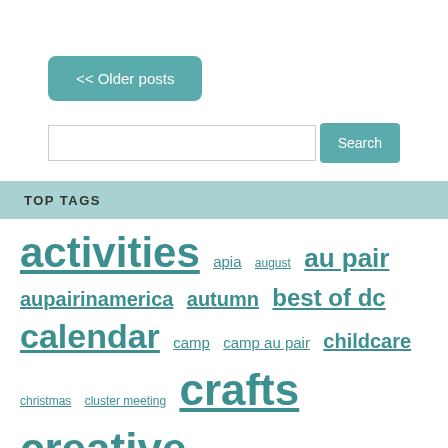<< Older posts
Search [input field] Search button
TOP TAGS
activities  apia  august  au pair  aupairinamerica  autumn  best of dc  calendar  camp  camp au pair  childcare  christmas  cluster meeting  crafts  creative  cultural exchange  dc  december  Easter  fall  faqs  february  Fun  halloween  hanukkah  holiday  holidays  july  june  kids  march  May  november  october  Pinterest